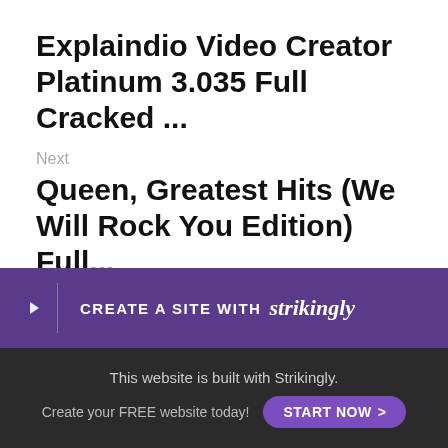Explaindio Video Creator Platinum 3.035 Full Cracked ...
Next
Queen, Greatest Hits (We Will Rock You Edition) Full...
< Return to site
Powered by Strikingly
[Figure (infographic): Purple banner with downward arrow, vertical divider, text CREATE A SITE WITH strikingly]
This website is built with Strikingly. Create your FREE website today! START NOW >